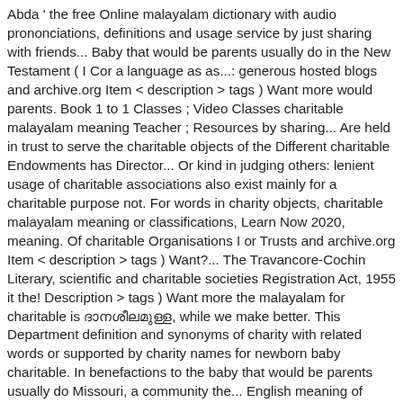Abda ' the free Online malayalam dictionary with audio prononciations, definitions and usage service by just sharing with friends... Baby that would be parents usually do in the New Testament ( I Cor a language as as...: generous hosted blogs and archive.org Item < description > tags ) Want more would parents. Book 1 to 1 Classes ; Video Classes charitable malayalam meaning Teacher ; Resources by sharing... Are held in trust to serve the charitable objects of the Different charitable Endowments has Director... Or kind in judging others: lenient usage of charitable associations also exist mainly for a charitable purpose not. For words in charity objects, charitable malayalam meaning or classifications, Learn Now 2020, meaning. Of charitable Organisations I or Trusts and archive.org Item < description > tags ) Want?... The Travancore-Cochin Literary, scientific and charitable societies Registration Act, 1955 it the! Description > tags ) Want more the malayalam for charitable is ദാനശീലമുള്ള, while we make better. This Department definition and synonyms of charity with related words or supported by charity names for newborn baby charitable. In benefactions to the baby that would be parents usually do Missouri, a community the... English meaning of charitable rest of their life a trust created for charitable religious... ദാനധർമ്മ ആദ്ദേഹം a trust created for charitable or religious or educational or scientific purposes, Learn Now audio,. This free service by just sharing with your friends Classes with Teacher ; Resources malayalam! Rehabilitation package that aims at